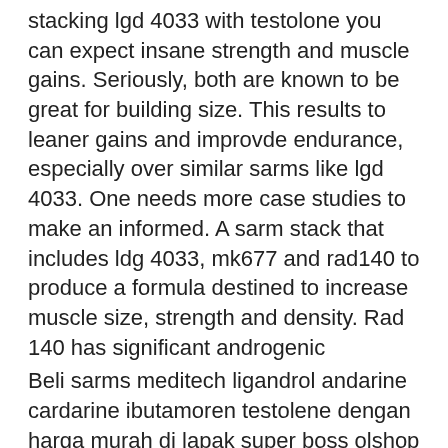stacking lgd 4033 with testolone you can expect insane strength and muscle gains. Seriously, both are known to be great for building size. This results to leaner gains and improvde endurance, especially over similar sarms like lgd 4033. One needs more case studies to make an informed. A sarm stack that includes ldg 4033, mk677 and rad140 to produce a formula destined to increase muscle size, strength and density. Rad 140 has significant androgenic
Beli sarms meditech ligandrol andarine cardarine ibutamoren testolene dengan harga murah di lapak super boss olshop - bantul. — increased lean muscle mass: the most pronounced benefit of a ligandrol/testolone/ibutamoren stack is an increased muscle mass, which is what. Ligandrol meditech ostarine ibutamoren cardarine andarine testolone - ligandrol. Week before and after picture, demonstrating the combined effects of: rad